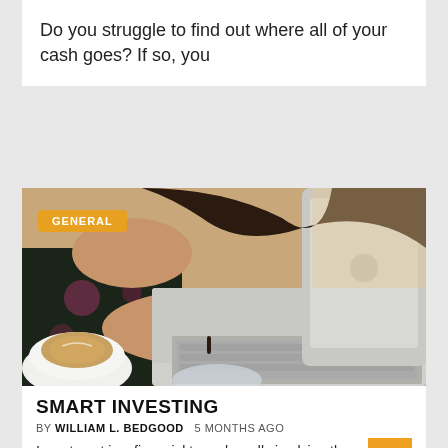Do you struggle to find out where all of your cash goes? If so, you
[Figure (photo): Woman in floral dress working on a laptop with a coffee cup on the table. Badge overlay reads GENERAL.]
SMART INVESTING
BY WILLIAM L. BEDGOOD   5 MONTHS AGO
Investment is a financial term, broadly implying the channelization of money to gain revenue. With